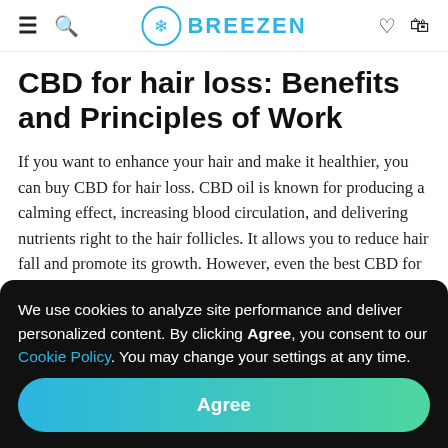BREEZEN
CBD for hair loss: Benefits and Principles of Work
If you want to enhance your hair and make it healthier, you can buy CBD for hair loss. CBD oil is known for producing a calming effect, increasing blood circulation, and delivering nutrients right to the hair follicles. It allows you to reduce hair fall and promote its growth. However, even the best CBD for hair loss won't help you if your conditions are related to genetic or hormonal influences. CBD products
We use cookies to analyze site performance and deliver personalized content. By clicking Agree, you consent to our Cookie Policy. You may change your settings at any time.
Agree